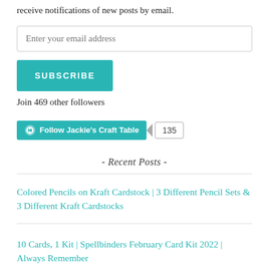receive notifications of new posts by email.
Enter your email address
SUBSCRIBE
Join 469 other followers
[Figure (other): WordPress Follow button widget showing 'Follow Jackie's Craft Table' teal button with WordPress logo and a count badge showing 135]
- Recent Posts -
Colored Pencils on Kraft Cardstock | 3 Different Pencil Sets & 3 Different Kraft Cardstocks
10 Cards, 1 Kit | Spellbinders February Card Kit 2022 | Always Remember